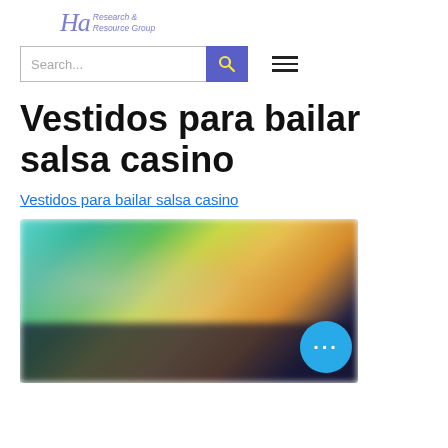[Figure (logo): Ha Research & Resource Group logo with stylized text in purple/blue italic font]
[Figure (screenshot): Search bar UI element with text input 'Search...' and blue search button with magnifying glass icon, plus hamburger menu icon]
Vestidos para bailar salsa casino
Vestidos para bailar salsa casino
[Figure (photo): Blurred image showing people dancing, appears to be salsa/casino dancers with colorful clothing, with a blue circular button with ellipsis (…) overlay]